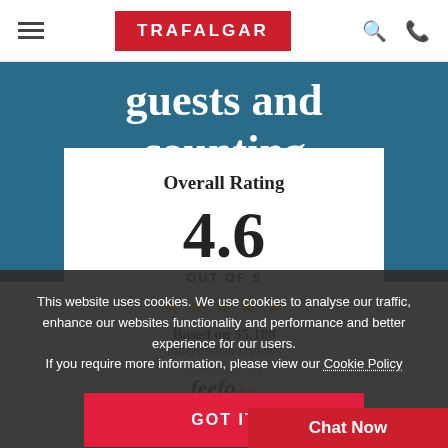TRAFALGAR
guests and counting
Overall Rating
4.6
OUT OF 5
Based on 55,180 independent reviews
POWERED BY feefo
This website uses cookies. We use cookies to analyse our traffic, enhance our websites functionality and performance and better experience for our users. If you require more information, please view our Cookie Policy
GOT IT
Chat Now